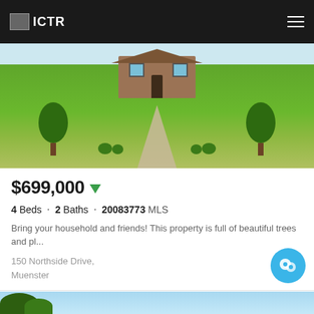ICTR
[Figure (photo): Exterior photo of a single-story brick house with large green lawn, walkway, trees on both sides, and landscaped bushes near the entrance.]
$699,000
4 Beds · 2 Baths · 20083773 MLS
Bring your household and friends! This property is full of beautiful trees and pl...
150 Northside Drive,
Muenster
Listing courtesy of DFWCityhor
Map